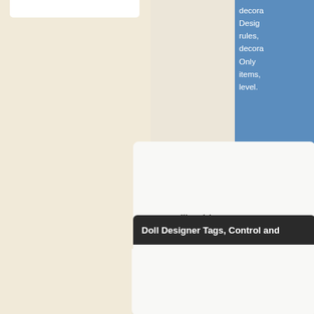[Figure (screenshot): Beige/cream left card area with white bar at top]
[Figure (screenshot): Blue panel (partially visible, top-right) with white text about decorating/design rules]
Do you like this games?
Doll Designer Tags, Control and
[Figure (screenshot): Game thumbnail showing two cartoon characters (female and male) on orange background with yellow border]
Tags:
girl, k
Slide